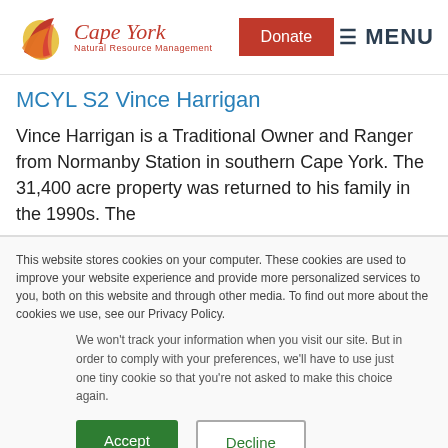Cape York Natural Resource Management | Donate | MENU
MCYL S2 Vince Harrigan
Vince Harrigan is a Traditional Owner and Ranger from Normanby Station in southern Cape York. The 31,400 acre property was returned to his family in the 1990s. The
This website stores cookies on your computer. These cookies are used to improve your website experience and provide more personalized services to you, both on this website and through other media. To find out more about the cookies we use, see our Privacy Policy.
We won't track your information when you visit our site. But in order to comply with your preferences, we'll have to use just one tiny cookie so that you're not asked to make this choice again.
Accept | Decline